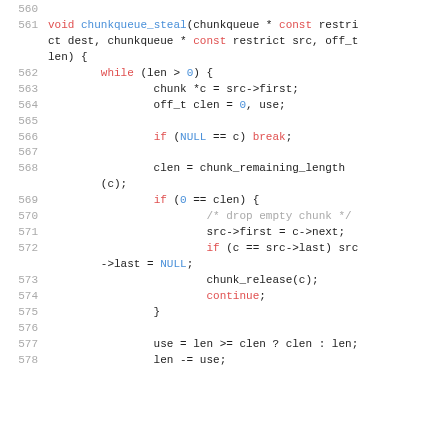[Figure (screenshot): Source code listing showing C function chunkqueue_steal, lines 560-578, with syntax highlighting: line numbers in gray, keywords in red, identifiers in blue, comments in gray, regular code in dark.]